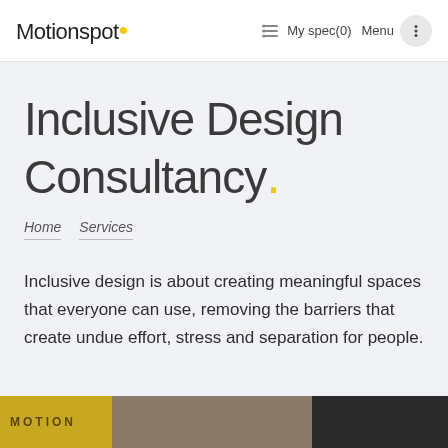Motionspot · My spec(0) Menu
Inclusive Design Consultancy.
Home   Services
Inclusive design is about creating meaningful spaces that everyone can use, removing the barriers that create undue effort, stress and separation for people.
[Figure (screenshot): Bottom strip showing partial image with MOTION text label and photographic content]